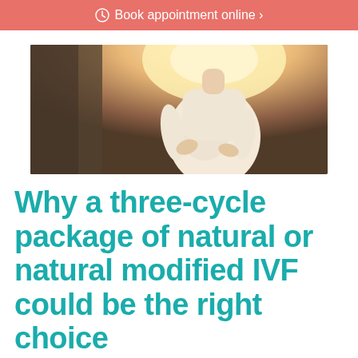Book appointment online ›
[Figure (photo): Pregnant woman in white dress outdoors with warm sunlight in background, holding her baby bump with both hands]
Why a three-cycle package of natural or natural modified IVF could be the right choice